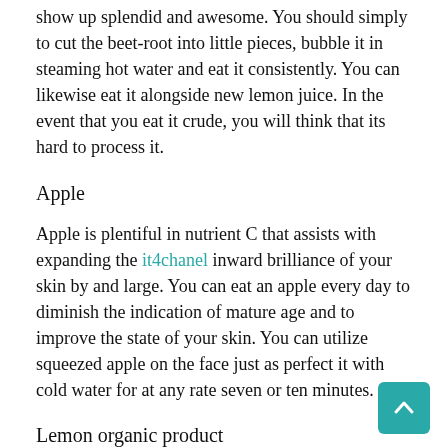show up splendid and awesome. You should simply to cut the beet-root into little pieces, bubble it in steaming hot water and eat it consistently. You can likewise eat it alongside new lemon juice. In the event that you eat it crude, you will think that its hard to process it.
Apple
Apple is plentiful in nutrient C that assists with expanding the it4chanel inward brilliance of your skin by and large. You can eat an apple every day to diminish the indication of mature age and to improve the state of your skin. You can utilize squeezed apple on the face just as perfect it with cold water for at any rate seven or ten minutes.
Lemon organic product
A person eating a variety of fruits for skin care of